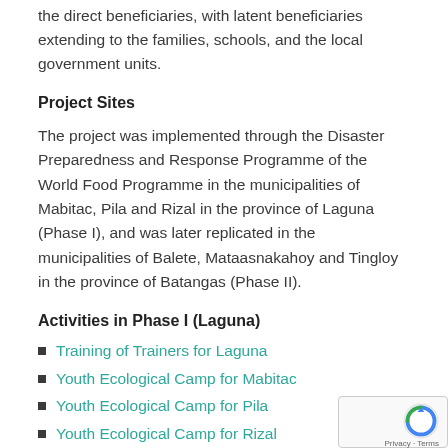the direct beneficiaries, with latent beneficiaries extending to the families, schools, and the local government units.
Project Sites
The project was implemented through the Disaster Preparedness and Response Programme of the World Food Programme in the municipalities of Mabitac, Pila and Rizal in the province of Laguna (Phase I), and was later replicated in the municipalities of Balete, Mataasnakahoy and Tingloy in the province of Batangas (Phase II).
Activities in Phase I (Laguna)
Training of Trainers for Laguna
Youth Ecological Camp for Mabitac
Youth Ecological Camp for Pila
Youth Ecological Camp for Rizal
Community Meetings for Laguna
Implementation of Pilot Projects/Activities
Awarding of Best Practice in DRR and CCAM by
Attendance of selected campers to the Youth